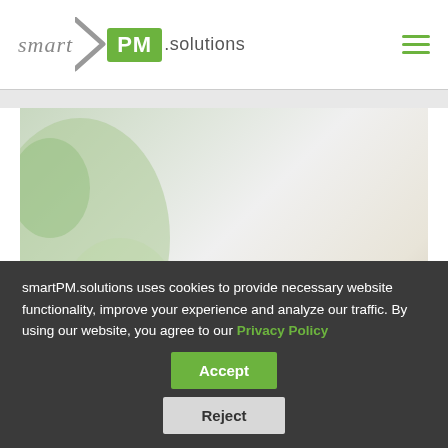[Figure (logo): smartPM.solutions logo with arrow chevron, green PM box, and solutions text]
[Figure (photo): Hero image with blurred green and beige background showing cursive 'win win' text in grey]
smartPM.solutions uses cookies to provide necessary website functionality, improve your experience and analyze our traffic. By using our website, you agree to our Privacy Policy
Accept
Reject